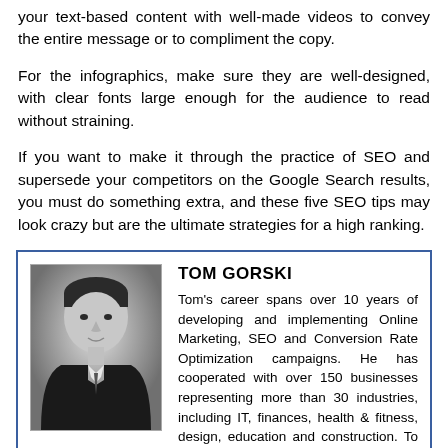your text-based content with well-made videos to convey the entire message or to compliment the copy.
For the infographics, make sure they are well-designed, with clear fonts large enough for the audience to read without straining.
If you want to make it through the practice of SEO and supersede your competitors on the Google Search results, you must do something extra, and these five SEO tips may look crazy but are the ultimate strategies for a high ranking.
[Figure (photo): Black and white headshot photo of Tom Gorski, a young man in a suit.]
TOM GORSKI
Tom's career spans over 10 years of developing and implementing Online Marketing, SEO and Conversion Rate Optimization campaigns. He has cooperated with over 150 businesses representing more than 30 industries, including IT, finances, health & fitness, design, education and construction. To date, he has catered for the needs of businesses of various sizes including startups, non-profits, and even